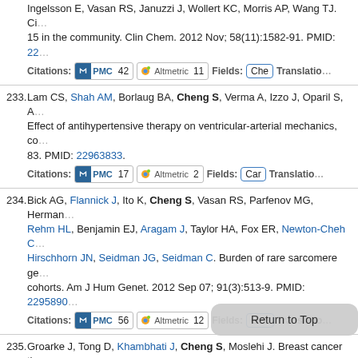Ingelsson E, Vasan RS, Januzzi J, Wollert KC, Morris AP, Wang TJ. Ci... 15 in the community. Clin Chem. 2012 Nov; 58(11):1582-91. PMID: 22...
Citations: PMC 42 | Altmetric 11 | Fields: Che | Translation: ...
233. Lam CS, Shah AM, Borlaug BA, Cheng S, Verma A, Izzo J, Oparil S, A... Effect of antihypertensive therapy on ventricular-arterial mechanics, co... 83. PMID: 22963833.
Citations: PMC 17 | Altmetric 2 | Fields: Car | Translation: ...
234. Bick AG, Flannick J, Ito K, Cheng S, Vasan RS, Parfenov MG, Herman... Rehm HL, Benjamin EJ, Aragam J, Taylor HA, Fox ER, Newton-Cheh C... Hirschhorn JN, Seidman JG, Seidman C. Burden of rare sarcomere ge... cohorts. Am J Hum Genet. 2012 Sep 07; 91(3):513-9. PMID: 22958901...
Citations: PMC 56 | Altmetric 12 | Fields: Gen | Translation: ...
235. Groarke J, Tong D, Khambhati J, Cheng S, Moslehi J. Breast cancer th... Sep; 96(5):1001-19. PMID: 22980061.
Citations: PMC 8 | Fields: Med | Translation: Humans
236. Parast L, Cheng SC, Cai T. Landmark Predicti... urva... Stat Assoc. 2012; 107(500):1492-1501. PMID: ...
Citations: PMC 8